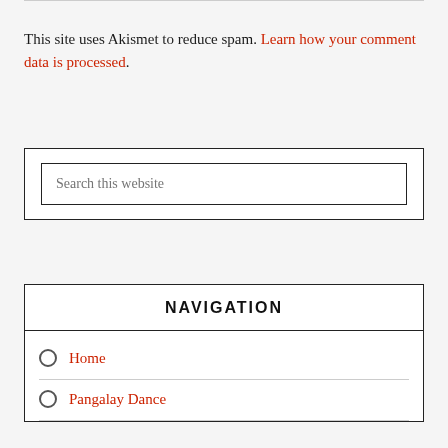This site uses Akismet to reduce spam. Learn how your comment data is processed.
[Figure (screenshot): Search widget with text input 'Search this website']
NAVIGATION
Home
Pangalay Dance